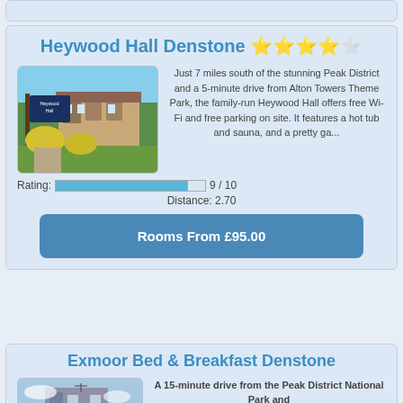Heywood Hall Denstone ★★★★☆
[Figure (photo): Exterior photo of Heywood Hall showing a sign and building with trees and garden]
Just 7 miles south of the stunning Peak District and a 5-minute drive from Alton Towers Theme Park, the family-run Heywood Hall offers free Wi-Fi and free parking on site. It features a hot tub and sauna, and a pretty ga...
Rating: 9 / 10
Distance: 2.70
Rooms From £95.00
Exmoor Bed & Breakfast Denstone
[Figure (photo): Photo of Exmoor Bed & Breakfast exterior]
A 15-minute drive from the Peak District National Park and